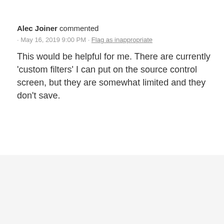Alec Joiner commented
· May 16, 2019 9:00 PM · Flag as inappropriate
This would be helpful for me. There are currently 'custom filters' I can put on the source control screen, but they are somewhat limited and they don't save.
[Figure (logo): devart logo in light gray text]
Devart   Terms of Service   Powered By UserVoice